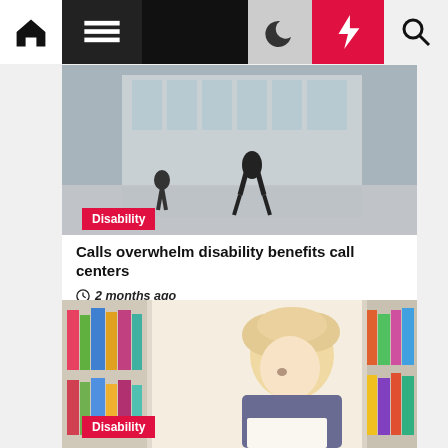[Figure (screenshot): Website navigation bar with home icon, hamburger menu, dark mode moon icon, red lightning bolt icon, and search icon]
[Figure (photo): Grayscale photo of people walking in front of a glass building]
Disability
Calls overwhelm disability benefits call centers
2 months ago
[Figure (photo): Child with blond hair reading a book in a library with colorful books in the background]
Disability